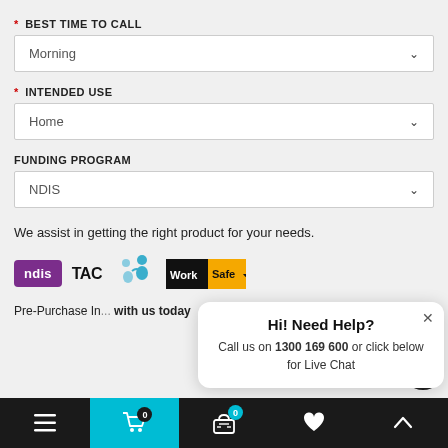* BEST TIME TO CALL
Morning (dropdown)
* INTENDED USE
Home (dropdown)
FUNDING PROGRAM
NDIS (dropdown)
We assist in getting the right product for your needs.
[Figure (logo): Row of logos: NDIS (purple), TAC, care icon, WorkSafe (black and yellow diamond)]
Pre-Purchase In... with us today
Hi! Need Help? Call us on 1300 169 600 or click below for Live Chat